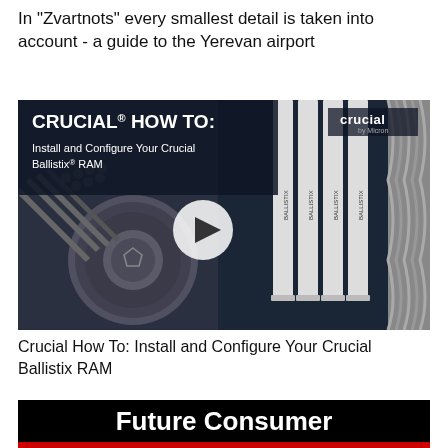In "Zvartnots" every smallest detail is taken into account - a guide to the Yerevan airport
[Figure (screenshot): Thumbnail for a Crucial How To video: dark background with a close-up photo of a PC with Ballistix RAM sticks and a cooling component. Text reads 'CRUCIAL HOW TO: Install and Configure Your Crucial Ballistix RAM' with a play button in the center and the Crucial logo top right.]
Crucial How To: Install and Configure Your Crucial Ballistix RAM
[Figure (screenshot): Black banner with bold white text reading 'Future Consumer' and a red bar at the bottom.]